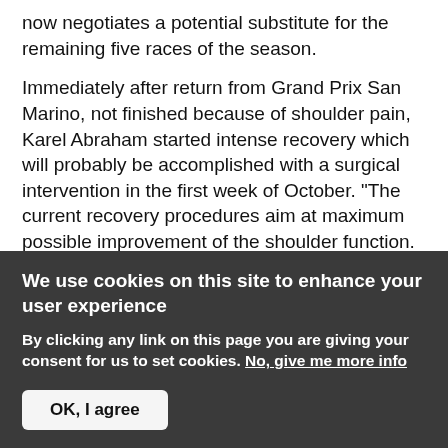now negotiates a potential substitute for the remaining five races of the season.

Immediately after return from Grand Prix San Marino, not finished because of shoulder pain, Karel Abraham started intense recovery which will probably be accomplished with a surgical intervention in the first week of October. "The current recovery procedures aim at maximum possible improvement of the shoulder function. If it were not for the positive find of the electromagnetic resonance examination we could continue with conservative therapy. When sufficient shoulder stability cannot even be achieved by targeted recovery surgery is the inevitable next step," explained
We use cookies on this site to enhance your user experience
By clicking any link on this page you are giving your consent for us to set cookies. No, give me more info
OK, I agree